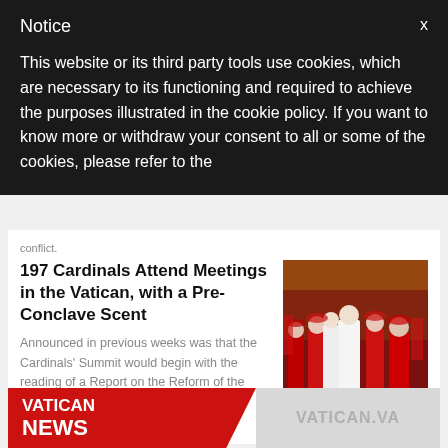Notice
This website or its third party tools use cookies, which are necessary to its functioning and required to achieve the purposes illustrated in the cookie policy. If you want to know more or withdraw your consent to all or some of the cookies, please refer to the cookie policy.
conflict.
197 Cardinals Attend Meetings in the Vatican, with a Pre-Conclave Scent
Announced in previous weeks was that the Cardinals' Summit would begin with the reading of a Report on the Reform of the Roman Curia.
[Figure (photo): Cardinals in red robes walking in procession inside St. Peter's Basilica]
[Figure (logo): Vatican News / Vatican.va logo banner with red background on left and gray on right]